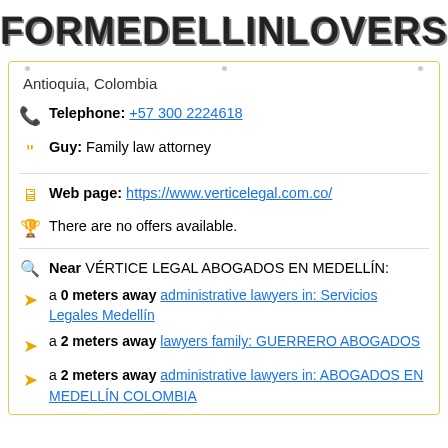FORMEDELLINLOVERS
Antioquia, Colombia
Telephone: +57 300 2224618
Guy: Family law attorney
Web page: https://www.verticelegal.com.co/
There are no offers available.
Near VÉRTICE LEGAL ABOGADOS EN MEDELLÍN:
a 0 meters away administrative lawyers in: Servicios Legales Medellín
a 2 meters away lawyers family: GUERRERO ABOGADOS
a 2 meters away administrative lawyers in: ABOGADOS EN MEDELLÍN COLOMBIA